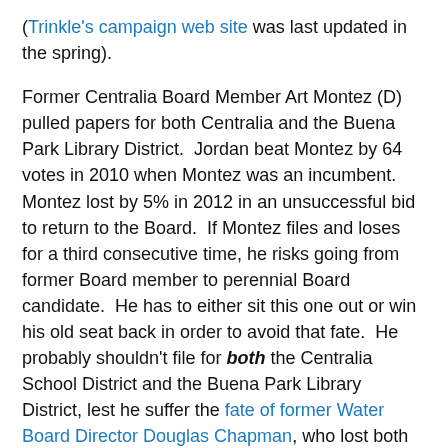(Trinkle's campaign web site was last updated in the spring).
Former Centralia Board Member Art Montez (D) pulled papers for both Centralia and the Buena Park Library District.  Jordan beat Montez by 64 votes in 2010 when Montez was an incumbent.  Montez lost by 5% in 2012 in an unsuccessful bid to return to the Board.  If Montez files and loses for a third consecutive time, he risks going from former Board member to perennial Board candidate.  He has to either sit this one out or win his old seat back in order to avoid that fate.  He probably shouldn't file for both the Centralia School District and the Buena Park Library District, lest he suffer the fate of former Water Board Director Douglas Chapman, who lost both races when he ran for two seats in 2012.